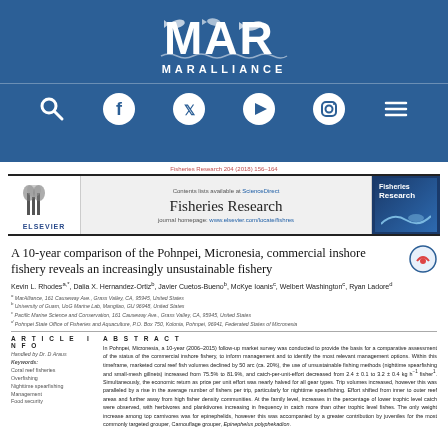[Figure (logo): MarAlliance logo with fish imagery and text MARALLIANCE on blue background with social media nav icons]
Fisheries Research 204 (2018) 156–164
[Figure (logo): Elsevier publisher block with journal header for Fisheries Research, ScienceDirect link, journal homepage, and journal cover image]
A 10-year comparison of the Pohnpei, Micronesia, commercial inshore fishery reveals an increasingly unsustainable fishery
Kevin L. Rhodes a,*, Dalia X. Hernandez-Ortiz b, Javier Cuetos-Bueno b, McKye Ioanis c, Welbert Washington c, Ryan Ladore d
a MarAlliance, 161 Causeway Ave., Grass Valley, CA, 95945, United States
b University of Guam, UoG Marine Lab, Mangilao, GU 96948, United States
c Pacific Marine Science and Conservation, 161 Causeway Ave., Grass Valley, CA, 95945, United States
d Pohnpei State Office of Fisheries and Aquaculture, P.O. Box 750, Kolonia, Pohnpei, 96941, Federated States of Micronesia
ARTICLE INFO
Handled by Dr. D Araus
Keywords:
Coral reef fisheries
Overfishing
Nighttime spearfishing
Management
Food security
ABSTRACT
In Pohnpei, Micronesia, a 10-year (2006–2015) follow-up market survey was conducted to provide the basis for a comparative assessment of the status of the commercial inshore fishery, to inform management and to identify the most relevant management options. Within this timeframe, marketed coral reef fish volumes declined by 50 arc (ca. 20%), the use of unsustainable fishing methods (nighttime spearfishing and small-mesh gillnets) increased from 75.5% to 81.9%, and catch-per-unit-effort decreased from 2.4 ± 0.1 to 3.2 ± 0.4 kg h⁻¹ fisher¹. Simultaneously, the economic return as price per unit effort was nearly halved for all gear types. Trip volumes increased, however this was paralleled by a rise in the average number of fishers per trip, particularly for nighttime spearfishing. Effort shifted from inner to outer reef areas and further away from high fisher density communities. At the family level, increases in the percentage of lower trophic level catch were observed, with herbivores and planktivores increasing in frequency in catch more than other trophic level fishes. The only weight increase among top carnivores was for epinephelids, however this was accompanied by a greater contribution by juveniles for the most commonly targeted grouper, Camouflage grouper, Epinephelus polyphekadion.